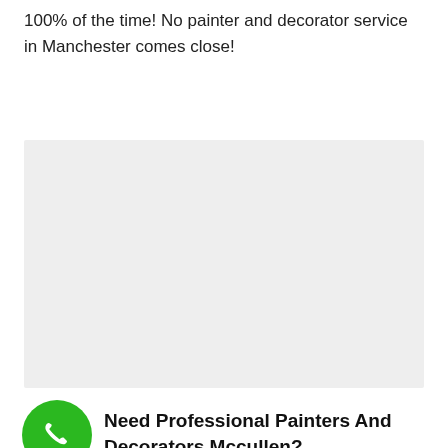100% of the time! No painter and decorator service in Manchester comes close!
[Figure (other): A large light grey rectangular placeholder image area]
Need Professional Painters And Decorators Mccullen?